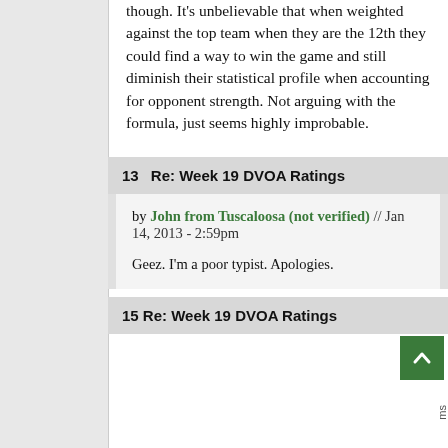though. It's unbelievable that when weighted against the top team when they are the 12th they could find a way to win the game and still diminish their statistical profile when accounting for opponent strength. Not arguing with the formula, just seems highly improbable.
13   Re: Week 19 DVOA Ratings
by John from Tuscaloosa (not verified) // Jan 14, 2013 - 2:59pm
Geez. I'm a poor typist. Apologies.
15   Re: Week 19 DVOA Ratings